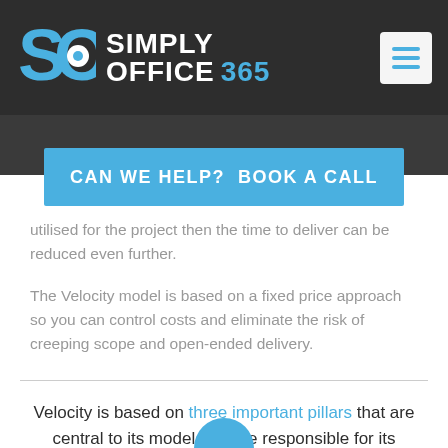SIMPLY OFFICE 365
CAN WE HELP?  BOOK A CALL
utilised for the project then the time to deliver can be reduced even further.
The Velocity model is based on a fixed price approach so you can control costs and eliminate the risk of creeping scope and open-ended delivery.
Velocity is based on three important pillars that are central to its model and are responsible for its success.